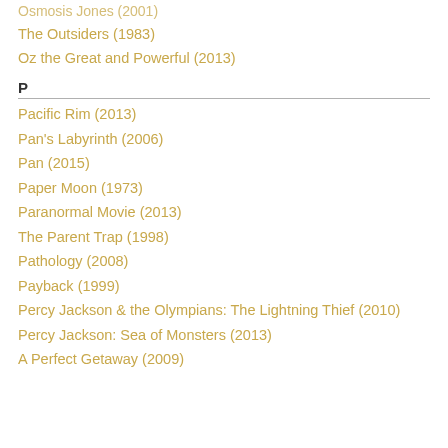Osmosis Jones (2001)
The Outsiders (1983)
Oz the Great and Powerful (2013)
P
Pacific Rim (2013)
Pan's Labyrinth (2006)
Pan (2015)
Paper Moon (1973)
Paranormal Movie (2013)
The Parent Trap (1998)
Pathology (2008)
Payback (1999)
Percy Jackson & the Olympians: The Lightning Thief (2010)
Percy Jackson: Sea of Monsters (2013)
A Perfect Getaway (2009)